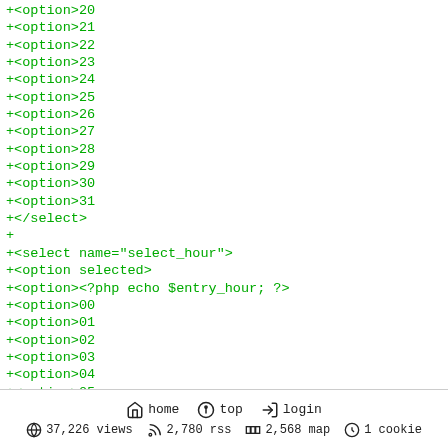+<option>20
+<option>21
+<option>22
+<option>23
+<option>24
+<option>25
+<option>26
+<option>27
+<option>28
+<option>29
+<option>30
+<option>31
+</select>
+
+<select name="select_hour">
+<option selected>
+<option><?php echo $entry_hour; ?>
+<option>00
+<option>01
+<option>02
+<option>03
+<option>04
+<option>05
+<option>06
+<option>07
+<option>08
+<option>09
+<opt...
home  top  login  37,226 views  2,780 rss  2,568 map  1 cookie